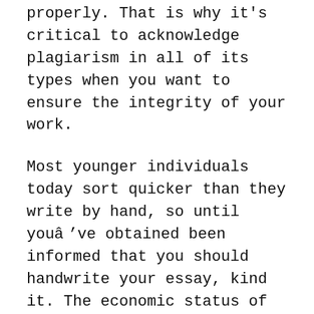properly. That is why it's critical to acknowledge plagiarism in all of its types when you want to ensure the integrity of your work.
Most younger individuals today sort quicker than they write by hand, so until youâve obtained been informed that you should handwrite your essay, kind it. The economic status of many college students is not robust sufficient to afford greater costs. Therefore, our services are very inexpensive and pocket-friendly, permitting you to attend to different actions economically. Our writers have immense experience within